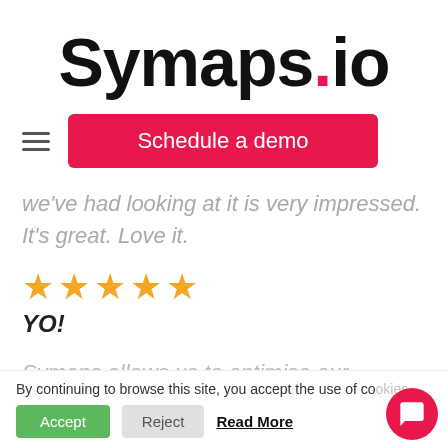Symaps.io
[Figure (other): Navigation bar with hamburger menu icon and pink 'Schedule a demo' button]
we've had looking at it is very impressed. It's great. Love it.
[Figure (other): Five gold star rating icons]
YO!
Symaps allows us to optimise our network by
By continuing to browse this site, you accept the use of cookies.
[Figure (other): Cookie consent buttons: Accept (green), Reject (grey), Read More (text link), and pink chat bubble button]